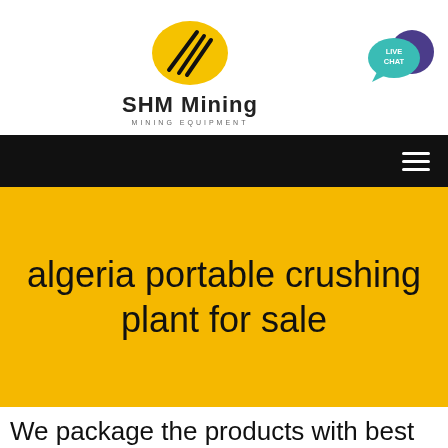[Figure (logo): SHM Mining logo with yellow oval and black diagonal lines, text 'SHM Mining' and 'MINING EQUIPMENT' below]
[Figure (other): Live Chat speech bubble icon in teal and purple]
[Figure (other): Black navigation bar with white hamburger menu icon on the right]
algeria portable crushing plant for sale
We package the products with best